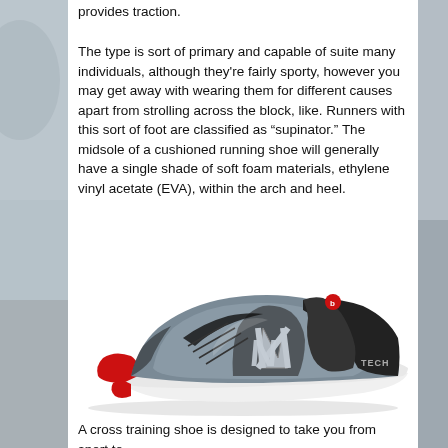provides traction.
The type is sort of primary and capable of suite many individuals, although they're fairly sporty, however you may get away with wearing them for different causes apart from strolling across the block, like. Runners with this sort of foot are classified as “supinator.” The midsole of a cushioned running shoe will generally have a single shade of soft foam materials, ethylene vinyl acetate (EVA), within the arch and heel.
[Figure (photo): A pair of New Balance running shoes in grey, black, and red colorway. The shoes feature the New Balance 'N' logo on the side and 'TECH' text near the heel. Red rubber outsole visible at toe and heel areas, white midsole.]
A cross training shoe is designed to take you from sport to